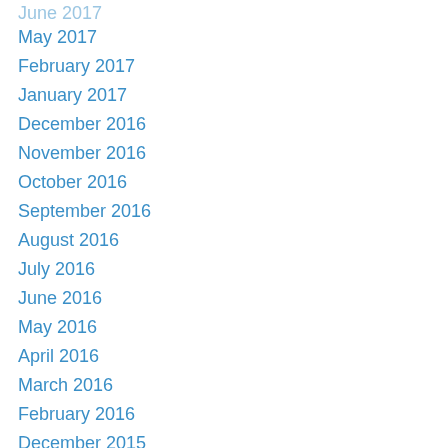June 2017
May 2017
February 2017
January 2017
December 2016
November 2016
October 2016
September 2016
August 2016
July 2016
June 2016
May 2016
April 2016
March 2016
February 2016
December 2015
August 2015
May 2015
March 2015
February 2015
December 2014